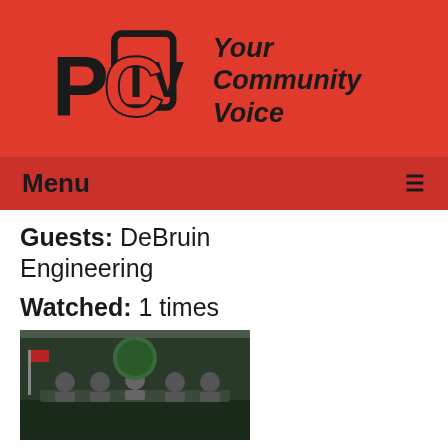[Figure (logo): PCTV logo with TV screen shape and tagline 'Your Community Voice' on red background]
Menu ≡
Guests: DeBruin Engineering
Watched: 1 times
[Figure (screenshot): Thumbnail image of a village board meeting room with people seated at tables]
The Village Board Work Session of 05-